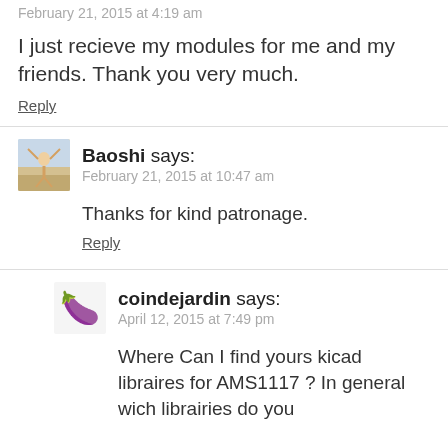February 21, 2015 at 4:19 am
I just recieve my modules for me and my friends. Thank you very much.
Reply
[Figure (photo): Avatar of user Baoshi, showing a person doing a handstand on a beach]
Baoshi says:
February 21, 2015 at 10:47 am
Thanks for kind patronage.
Reply
[Figure (illustration): Eggplant emoji avatar for user coindejardin]
coindejardin says:
April 12, 2015 at 7:49 pm
Where Can I find yours kicad libraires for AMS1117 ? In general wich librairies do you